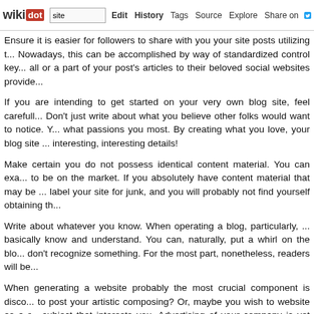wikidot | site | Edit | History | Tags | Source | Explore | Share on Twitter
Ensure it is easier for followers to share with you your site posts utilizing t... Nowadays, this can be accomplished by way of standardized control key... all or a part of your post's articles to their beloved social websites provide...
If you are intending to get started on your very own blog site, feel carefull... Don't just write about what you believe other folks would want to notice. Y... what passions you most. By creating what you love, your blog site ... interesting, interesting details!
Make certain you do not possess identical content material. You can exa... to be on the market. If you absolutely have content material that may be ... label your site for junk, and you will probably not find yourself obtaining th...
Write about whatever you know. When operating a blog, particularly, ... basically know and understand. You can, naturally, put a whirl on the blo... don't recognize something. For the most part, nonetheless, readers will be...
When generating a website probably the most crucial component is disco... to post your artistic composing? Or, maybe you wish to website as a r... subject that interests you. Advertising of your company is yet another ... your own purpose will allow you to determine what kind of blog to setup a... hoping to capture. Both, are crucial elements of a good blog site.
When you are creating, be sure that you stick to what you already know.... some measure of expertise to ensure people will get you really. If you ... would emerge inside your creating you do not know a lot concerning the r...
Use a lot of connect-ins on your own blog site as it offers consumers the... greater portion of your blog. The more you may have a person on your...